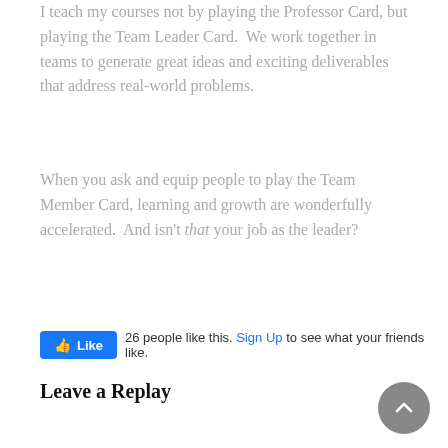I teach my courses not by playing the Professor Card, but playing the Team Leader Card.  We work together in teams to generate great ideas and exciting deliverables that address real-world problems.
When you ask and equip people to play the Team Member Card, learning and growth are wonderfully accelerated.  And isn't that your job as the leader?
[Figure (other): Facebook Like button widget showing '26 people like this. Sign Up to see what your friends like.']
Leave a Replay